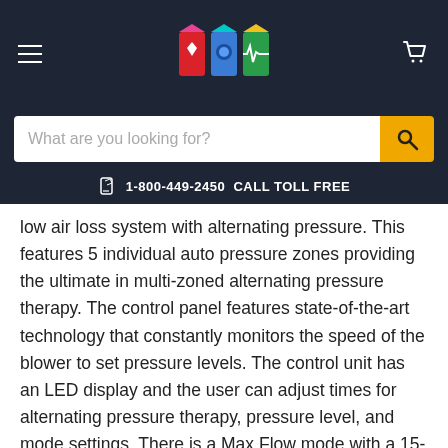[Figure (screenshot): Website header with dark navy background, hamburger menu icon on left, colorful logo (heart/medical themed) in center, shopping cart icon on right]
[Figure (screenshot): Search bar with 'What are you looking for?' placeholder text and orange search button]
1-800-449-2450  CALL TOLL FREE
low air loss system with alternating pressure. This features 5 individual auto pressure zones providing the ultimate in multi-zoned alternating pressure therapy. The control panel features state-of-the-art technology that constantly monitors the speed of the blower to set pressure levels. The control unit has an LED display and the user can adjust times for alternating pressure therapy, pressure level, and mode settings. There is a Max Flow mode with a 15-minute timer that rapidly inflates the mattress in 15-50 seconds (depending on mattress size). The risk of patient bottoming is eliminated with the upright mode (fowler mode) which inflates the mattress to 50% higher than the set pressure.